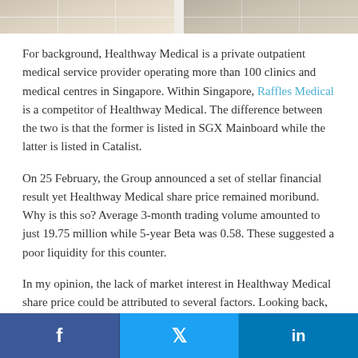[Figure (photo): Partial view of tiled floor or wall surface in beige/cream tones, split into two panels]
For background, Healthway Medical is a private outpatient medical service provider operating more than 100 clinics and medical centres in Singapore. Within Singapore, Raffles Medical is a competitor of Healthway Medical. The difference between the two is that the former is listed in SGX Mainboard while the latter is listed in Catalist.
On 25 February, the Group announced a set of stellar financial result yet Healthway Medical share price remained moribund. Why is this so? Average 3-month trading volume amounted to just 19.75 million while 5-year Beta was 0.58. These suggested a poor liquidity for this counter.
In my opinion, the lack of market interest in Healthway Medical share price could be attributed to several factors. Looking back, the counter has endured a lost decade. In 2013, Healthway Medical share price peaked at $0.12. In the
f  twitter  in